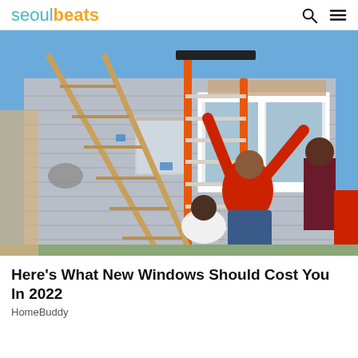seoulbeats
[Figure (photo): Workers installing a large white window on the exterior of a gray house. A person in a red shirt is climbing an orange ladder and lifting the window into place while another worker helps from outside. A second wooden ladder is visible on the left.]
Here's What New Windows Should Cost You In 2022
HomeBuddy